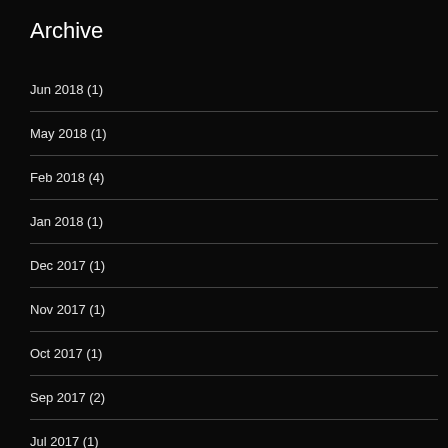Archive
Jun 2018 (1)
May 2018 (1)
Feb 2018 (4)
Jan 2018 (1)
Dec 2017 (1)
Nov 2017 (1)
Oct 2017 (1)
Sep 2017 (2)
Jul 2017 (1)
Apr 2017 (2)